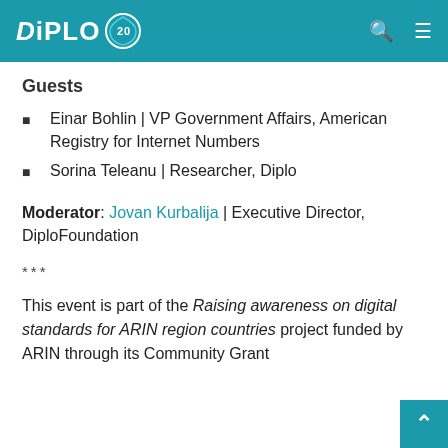DIPLO [logo with 20th anniversary emblem]
Guests
Einar Bohlin | VP Government Affairs, American Registry for Internet Numbers
Sorina Teleanu | Researcher, Diplo
Moderator: Jovan Kurbalija | Executive Director, DiploFoundation
***
This event is part of the Raising awareness on digital standards for ARIN region countries project funded by ARIN through its Community Grant